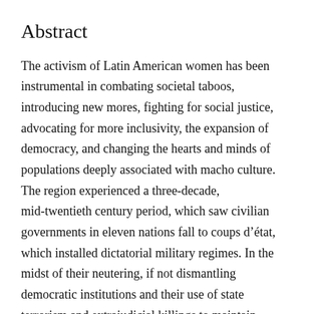Abstract
The activism of Latin American women has been instrumental in combating societal taboos, introducing new mores, fighting for social justice, advocating for more inclusivity, the expansion of democracy, and changing the hearts and minds of populations deeply associated with macho culture. The region experienced a three-decade, mid-twentieth century period, which saw civilian governments in eleven nations fall to coups d’état, which installed dictatorial military regimes. In the midst of their neutering, if not dismantling democratic institutions and their use of state terrorism and extrajudicial killings to maintain control, it was women’s movements that gave hope to and often mobilized large numbers of individuals to fight against authoritarianism. Women’s struggles contributed to